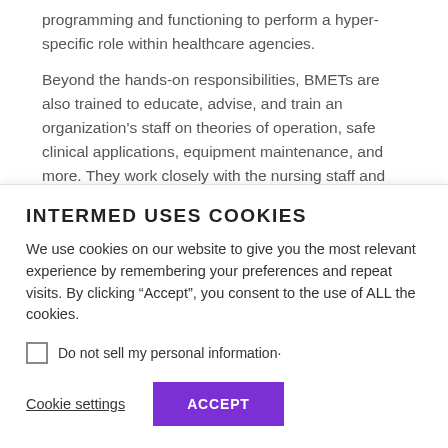programming and functioning to perform a hyper-specific role within healthcare agencies.
Beyond the hands-on responsibilities, BMETs are also trained to educate, advise, and train an organization's staff on theories of operation, safe clinical applications, equipment maintenance, and more. They work closely with the nursing staff and facility management to obtain necessary supplies and materials, keeping them in stock, coordinating
INTERMED USES COOKIES
We use cookies on our website to give you the most relevant experience by remembering your preferences and repeat visits. By clicking “Accept”, you consent to the use of ALL the cookies.
Do not sell my personal information·
Cookie settings
ACCEPT